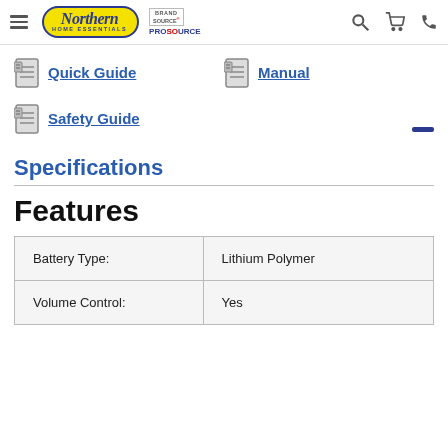Northern Home Essentials — BrandSource ProSource
Quick Guide
Manual
Safety Guide
Specifications
Features
|  |  |
| --- | --- |
| Battery Type: | Lithium Polymer |
| Volume Control: | Yes |